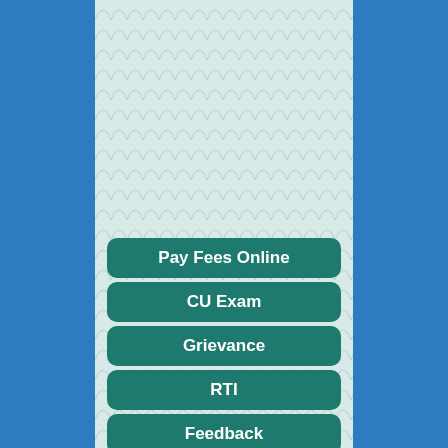[Figure (infographic): Navigation menu panel on a light teal background with scallop/wave pattern, flanked by blue side panels. Contains teal rounded-rectangle buttons for website navigation.]
Pay Fees Online
CU Exam
Grievance
RTI
Feedback
Student's Corner
Alumni